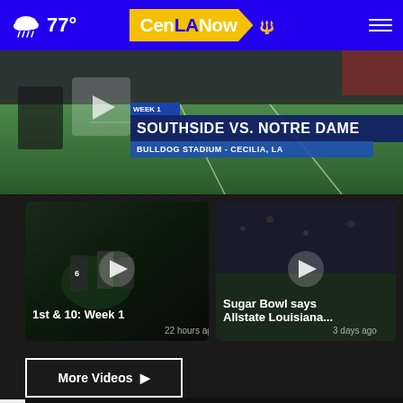77° CenLANow
[Figure (screenshot): Football game broadcast screenshot showing SOUTHSIDE VS. NOTRE DAME at BULLDOG STADIUM - CECILIA, LA, WEEK 1]
[Figure (screenshot): Video thumbnail: 1st & 10: Week 1 football game at night]
22 hours ago
[Figure (screenshot): Video thumbnail: Sugar Bowl says Allstate Louisiana...]
3 days ago
[Figure (screenshot): Video thumbnail: Cajuns season (partially visible)]
More Videos ▶